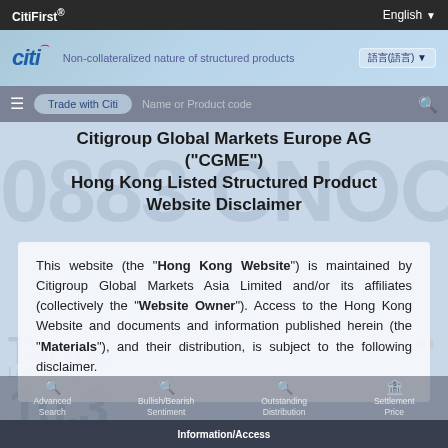CitiFirst®   English ▼
[Figure (screenshot): Citi logo with red arc and blue text on blue gradient header band, with text 'Non-collateralized nature of structured products' and language selector showing '語言(語言)']
Citigroup Global Markets Europe AG ("CGME") Hong Kong Listed Structured Product Website Disclaimer
This website (the "Hong Kong Website") is maintained by Citigroup Global Markets Asia Limited and/or its affiliates (collectively the "Website Owner"). Access to the Hong Kong Website and documents and information published herein (the "Materials"), and their distribution, is subject to the following disclaimer.
Information/Access